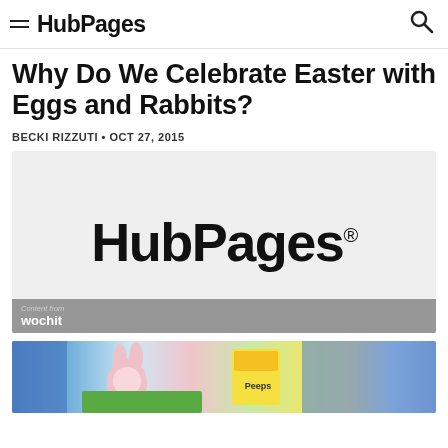HubPages
Why Do We Celebrate Easter with Eggs and Rabbits?
BECKI RIZZUTI • OCT 27, 2015
[Figure (logo): HubPages logo on light gray background with Wochit watermark at bottom left]
[Figure (photo): Easter basket with stuffed bunny rabbit, green grass, and yellow Peeps candy box]